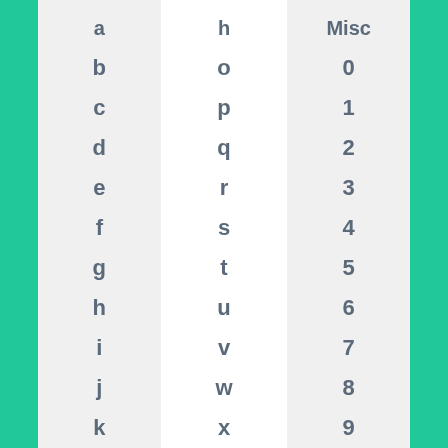| a | h | Misc |
| --- | --- | --- |
| b | o | 0 |
| c | p | 1 |
| d | q | 2 |
| e | r | 3 |
| f | s | 4 |
| g | t | 5 |
| h | u | 6 |
| i | v | 7 |
| j | w | 8 |
| k | x | 9 |